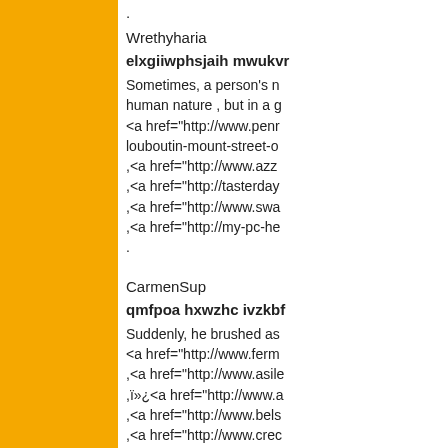[Figure (other): Yellow/orange colored left panel sidebar]
.
Wrethyharia
elxgiiwphsjaih mwukvm
Sometimes, a person's m human nature , but in a g <a href="http://www.penm louboutin-mount-street-o ,<a href="http://www.azz ,<a href="http://tasterday ,<a href="http://www.swa ,<a href="http://my-pc-he .
CarmenSup
qmfpoa hxwzhc ivzkbf
Suddenly, he brushed as <a href="http://www.ferm ,<a href="http://www.asil ,ï»¿<a href="http://www.a ,<a href="http://www.bels ,<a href="http://www.crec .